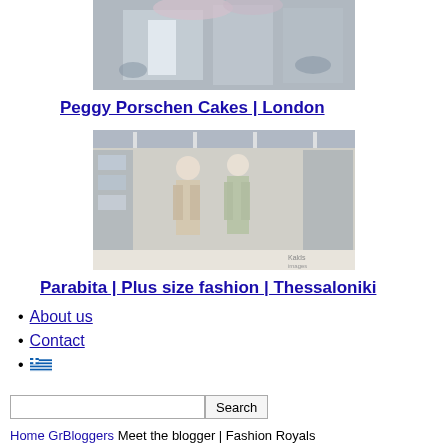[Figure (photo): Exterior of Peggy Porschen Cakes in London, with flowers and people sitting outside]
Peggy Porschen Cakes | London
[Figure (photo): Interior of Parabita plus size fashion store in Thessaloniki, showing mannequins and clothing displays]
Parabita | Plus size fashion | Thessaloniki
About us
Contact
[Greek flag icon]
Home GrBloggers Meet the blogger | Fashion Royals